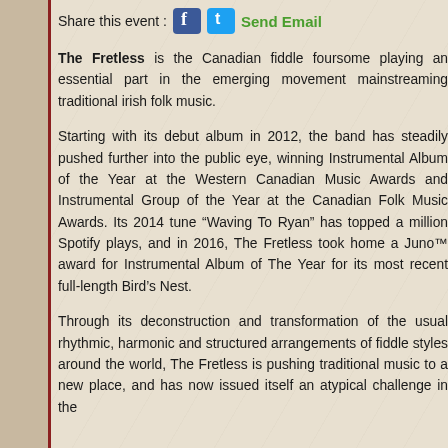Share this event : [Facebook icon] [Twitter icon] Send Email
The Fretless is the Canadian fiddle foursome playing an essential part in the emerging movement mainstreaming traditional irish folk music.
Starting with its debut album in 2012, the band has steadily pushed further into the public eye, winning Instrumental Album of the Year at the Western Canadian Music Awards and Instrumental Group of the Year at the Canadian Folk Music Awards. Its 2014 tune “Waving To Ryan” has topped a million Spotify plays, and in 2016, The Fretless took home a Juno™ award for Instrumental Album of The Year for its most recent full-length Bird’s Nest.
Through its deconstruction and transformation of the usual rhythmic, harmonic and structured arrangements of fiddle styles around the world, The Fretless is pushing traditional music to a new place, and has now issued itself an atypical challenge in the